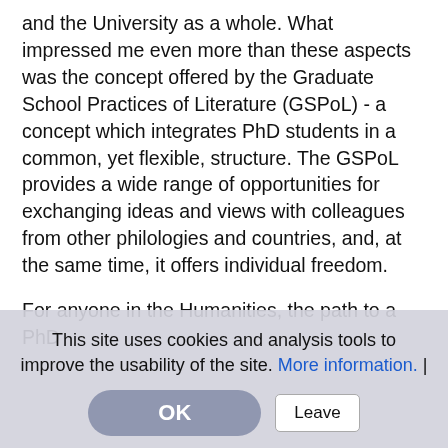and the University as a whole. What impressed me even more than these aspects was the concept offered by the Graduate School Practices of Literature (GSPoL) - a concept which integrates PhD students in a common, yet flexible, structure. The GSPoL provides a wide range of opportunities for exchanging ideas and views with colleagues from other philologies and countries, and, at the same time, it offers individual freedom.
For anyone in the Humanities, the path to a PhD
This site uses cookies and analysis tools to improve the usability of the site. More information. |
barriers... PhD - more difficult for me. This includes support from my fellow PhD students, as well as in the form of GSPoL events. Finally, I also appreciate